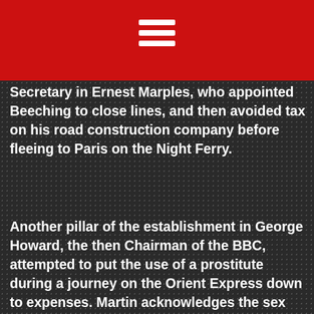each criminal them of the foreign trains that were imposed with the train rides on the rail line overall decline in British railways attributed in small part to a Transport Secretary in Ernest Marples, who appointed Beeching to close lines, and then avoided tax on his road construction company before fleeing to Paris on the Night Ferry.
Another pillar of the establishment in George Howard, the then Chairman of the BBC, attempted to put the use of a prostitute during a journey on the Orient Express down to expenses. Martin acknowledges the sex which often occurred on these journeys and the double compartments, which accessed a washroom from both sides, as sometimes facilitating it. Most spectacularly the blowing up of the train carrying Josephine Baker from Budapest by a Sylvester Matuschka was like something from a Freudian fever dream, motivated by obtaining sexual gratification from derailing trains. More routinely anyone who has spent a night in a shared sleeper compartment will recognise